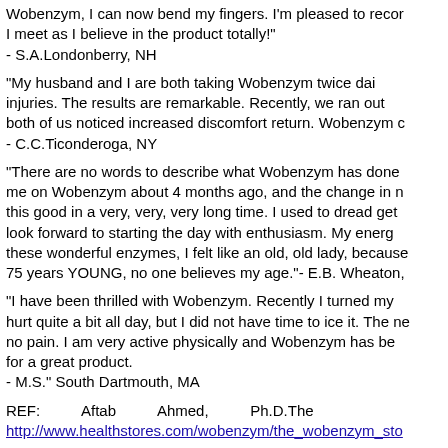Wobenzym, I can now bend my fingers. I'm pleased to recommend it to everyone I meet as I believe in the product totally!" - S.A.Londonberry, NH
"My husband and I are both taking Wobenzym twice daily for sports injuries. The results are remarkable. Recently, we ran out of Wobenzym and both of us noticed increased discomfort return. Wobenzym c... - C.C.Ticonderoga, NY
"There are no words to describe what Wobenzym has done for me. My doctor put me on Wobenzym about 4 months ago, and the change in my life is remarkable. I feel this good in a very, very, very long time. I used to dread getting up in the morning. I look forward to starting the day with enthusiasm. My energy is incredible. Before these wonderful enzymes, I felt like an old, old lady, because I am 75 years YOUNG, no one believes my age."- E.B. Wheaton,
"I have been thrilled with Wobenzym. Recently I turned my ankle. It hurt quite a bit all day, but I did not have time to ice it. The next morning, no pain. I am very active physically and Wobenzym has been a great blessing for a great product.
- M.S." South Dartmouth, MA
REF:          Aftab          Ahmed,          Ph.D.The
http://www.healthstores.com/wobenzym/the_wobenzym_sto...